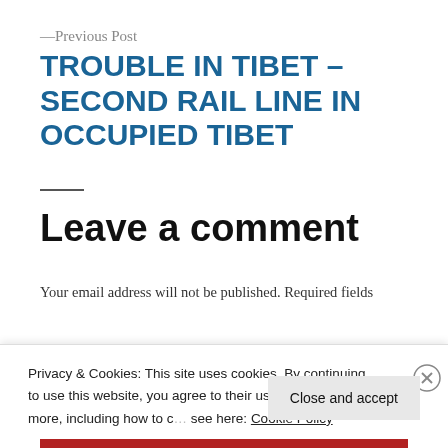—Previous Post
TROUBLE IN TIBET – SECOND RAIL LINE IN OCCUPIED TIBET
Leave a comment
Your email address will not be published. Required fields
Privacy & Cookies: This site uses cookies. By continuing to use this website, you agree to their use. To find out more, including how to control cookies, see here: Cookie Policy